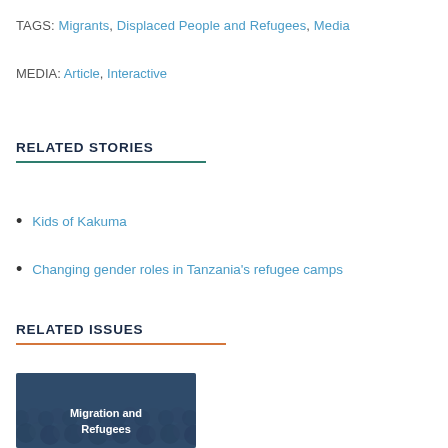TAGS: Migrants, Displaced People and Refugees, Media
MEDIA: Article, Interactive
RELATED STORIES
Kids of Kakuma
Changing gender roles in Tanzania's refugee camps
RELATED ISSUES
[Figure (photo): Photo of a crowd of people with a dark blue overlay, with text 'Migration and Refugees' overlaid in white]